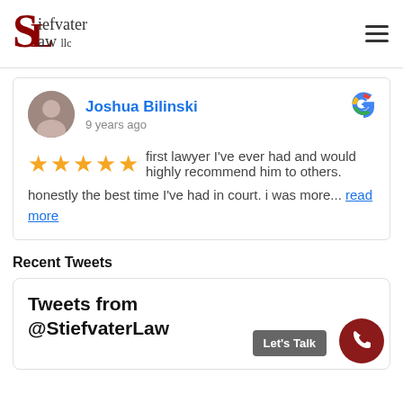[Figure (logo): Stiefvater Law LLC logo with stylized S and L letters]
Joshua Bilinski
9 years ago
★★★★★ first lawyer I've ever had and would highly recommend him to others. honestly the best time I've had in court. i was more... read more
Recent Tweets
Tweets from @StiefvaterLaw